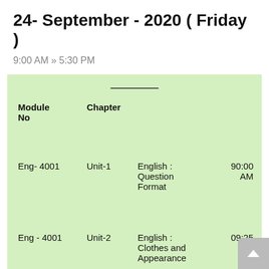24- September - 2020 ( Friday )
9:00 AM » 5:30 PM
| Module No | Chapter |  |  |
| --- | --- | --- | --- |
| Eng- 4001 | Unit-1 | English : Question Format | 90:00 AM |
| Eng - 4001 | Unit-2 | English : Clothes and Appearance | 09:25 AM |